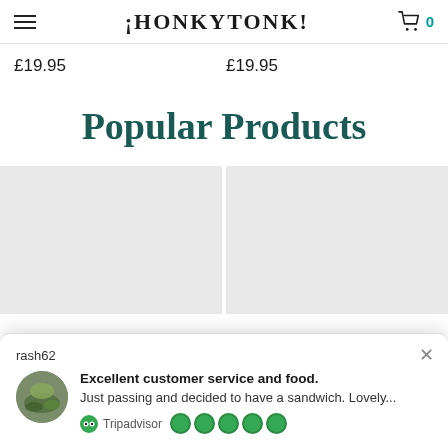¡HONKYTONK!
£19.95   £19.95
Popular Products
[Figure (photo): Two product image placeholder boxes side by side, light grey background]
rash62
Excellent customer service and food.
Just passing and decided to have a sandwich. Lovely...
Tripadvisor ●●●●●